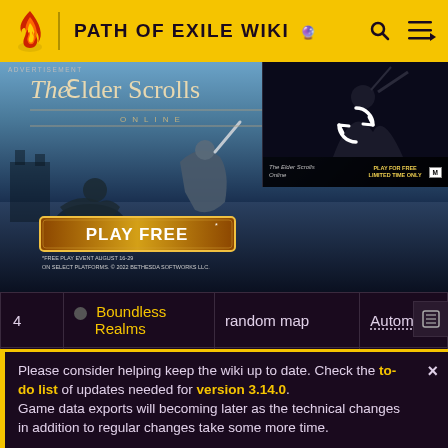PATH OF EXILE WIKI
[Figure (screenshot): The Elder Scrolls Online advertisement banner with battle scene, Play Free button, and a video thumbnail with refresh icon]
| # | Name | Map Type | Layout |
| --- | --- | --- | --- |
| 4 | Boundless Realms | random map | Automatic |
| 6 | The Explorer | random corrupted map | Automatic |
| 1 | The Void | random | Automatic |
Please consider helping keep the wiki up to date. Check the to-do list of updates needed for version 3.14.0. Game data exports will becoming later as the technical changes in addition to regular changes take some more time.